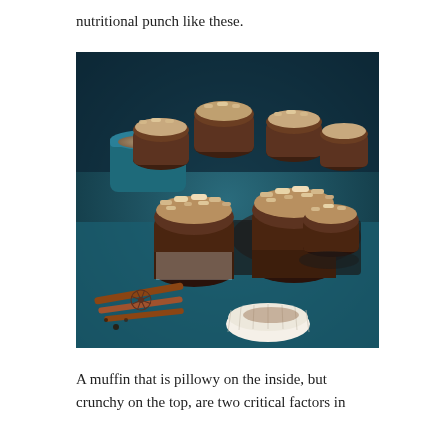nutritional punch like these.
[Figure (photo): A dark moody food photography image showing multiple chocolate muffins with oat and nut streusel topping, arranged on a dark teal surface. A blue ceramic cup with latte is visible in the background left. Cinnamon sticks and star anise are scattered around. A muffin tin and paper liner are also visible.]
A muffin that is pillowy on the inside, but crunchy on the top, are two critical factors in